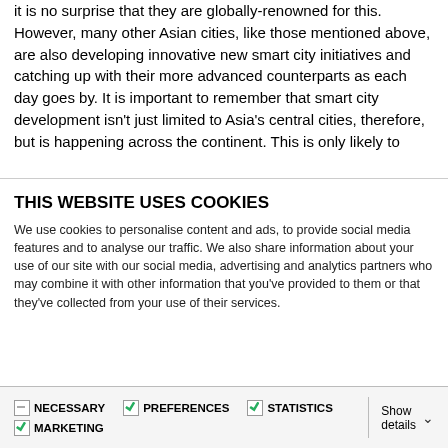it is no surprise that they are globally-renowned for this. However, many other Asian cities, like those mentioned above, are also developing innovative new smart city initiatives and catching up with their more advanced counterparts as each day goes by. It is important to remember that smart city development isn't just limited to Asia's central cities, therefore, but is happening across the continent. This is only likely to
THIS WEBSITE USES COOKIES
We use cookies to personalise content and ads, to provide social media features and to analyse our traffic. We also share information about your use of our site with our social media, advertising and analytics partners who may combine it with other information that you've provided to them or that they've collected from your use of their services.
Allow all cookies
Allow selection
Use necessary cookies only
NECESSARY  PREFERENCES  STATISTICS  MARKETING  Show details